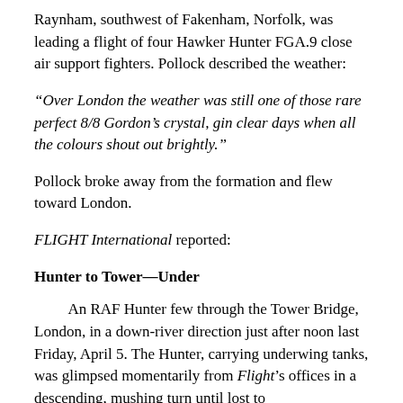Raynham, southwest of Fakenham, Norfolk, was leading a flight of four Hawker Hunter FGA.9 close air support fighters. Pollock described the weather:
“Over London the weather was still one of those rare perfect 8/8 Gordon’s crystal, gin clear days when all the colours shout out brightly.”
Pollock broke away from the formation and flew toward London.
FLIGHT International reported:
Hunter to Tower—Under
An RAF Hunter few through the Tower Bridge, London, in a down-river direction just after noon last Friday, April 5. The Hunter, carrying underwing tanks, was glimpsed momentarily from Flight’s offices in a descending, mushing turn until lost to